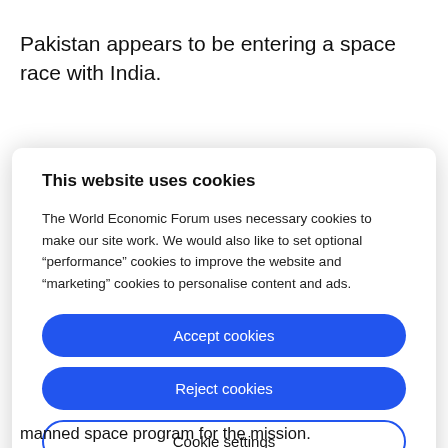Pakistan appears to be entering a space race with India.
This website uses cookies
The World Economic Forum uses necessary cookies to make our site work. We would also like to set optional “performance” cookies to improve the website and “marketing” cookies to personalise content and ads.
Accept cookies
Reject cookies
Cookie settings
manned space program for the mission.